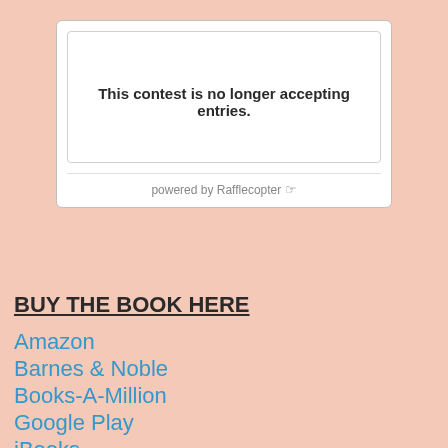[Figure (screenshot): Rafflecopter contest widget showing 'This contest is no longer accepting entries.' with a 'powered by Rafflecopter' footer]
BUY THE BOOK HERE
Amazon
Barnes & Noble
Books-A-Million
Google Play
iBooks
IndieBound
Kobo